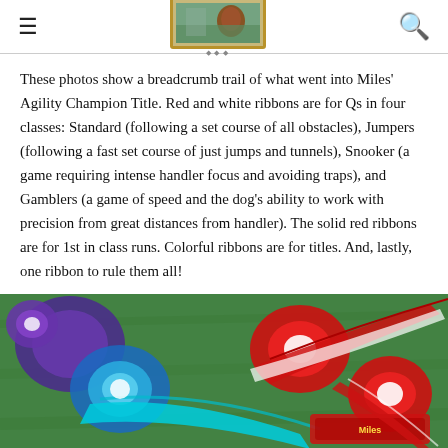Navigation header with hamburger menu, logo image, and search icon
These photos show a breadcrumb trail of what went into Miles' Agility Champion Title. Red and white ribbons are for Qs in four classes: Standard (following a set course of all obstacles), Jumpers (following a fast set course of just jumps and tunnels), Snooker (a game requiring intense handler focus and avoiding traps), and Gamblers (a game of speed and the dog's ability to work with precision from great distances from handler). The solid red ribbons are for 1st in class runs. Colorful ribbons are for titles. And, lastly, one ribbon to rule them all!
[Figure (photo): Photo of colorful dog agility competition ribbons laid on green grass, including blue, cyan, purple, and red/white ribbons with rosettes]